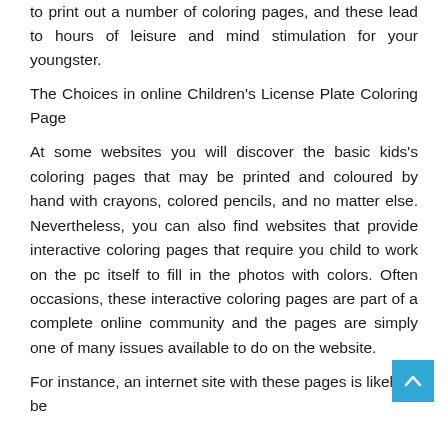to print out a number of coloring pages, and these lead to hours of leisure and mind stimulation for your youngster.
The Choices in online Children's License Plate Coloring Page
At some websites you will discover the basic kids's coloring pages that may be printed and coloured by hand with crayons, colored pencils, and no matter else. Nevertheless, you can also find websites that provide interactive coloring pages that require you child to work on the pc itself to fill in the photos with colors. Often occasions, these interactive coloring pages are part of a complete online community and the pages are simply one of many issues available to do on the website.
For instance, an internet site with these pages is likely to be